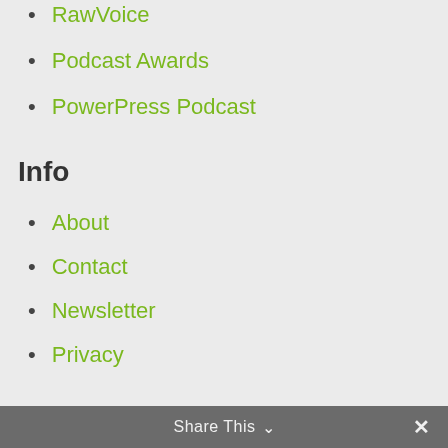RawVoice
Podcast Awards
PowerPress Podcast
Info
About
Contact
Newsletter
Privacy
Gadget Professor
Geek News Central Live
New Media Show
Pro Gear News - Reviews
Share This ∨ ✕